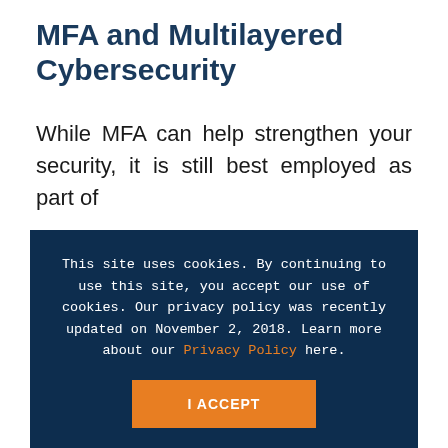MFA and Multilayered Cybersecurity
While MFA can help strengthen your security, it is still best employed as part of
This site uses cookies. By continuing to use this site, you accept our use of cookies. Our privacy policy was recently updated on November 2, 2018. Learn more about our Privacy Policy here.
I ACCEPT
holistic protection. The reality of today's cyber threats is that no one cybersecurity practice is enough to protect on its own. Instead, overlapping layers of